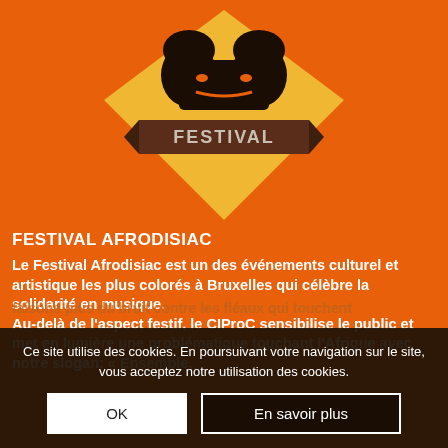[Figure (logo): Festival Afrodisiac logo: black stylized faces illustration inside a yellow diamond shape on orange background, with 'FESTIVAL' text on a dark banner ribbon below the faces]
FESTIVAL AFRODISIAC
Le Festival Afrodisiac est un des événements culturel et artistique les plus colorés à Bruxelles qui célèbre la solidarité en musique.
Au-delà de l'aspect festif, le CIProC sensibilise le public et met en lumière une problématique touchant l'Afrique avec notre slogan: « Ensemble, faisons plus du bruit contre les fléaux qui touchent
Ce site utilise des cookies. En poursuivant votre navigation sur le site, vous acceptez notre utilisation des cookies.
OK
En savoir plus